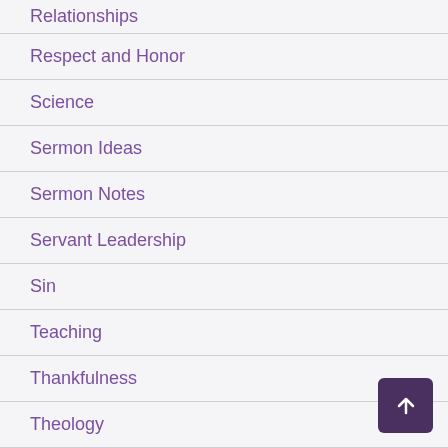Relationships
Respect and Honor
Science
Sermon Ideas
Sermon Notes
Servant Leadership
Sin
Teaching
Thankfulness
Theology
Trinity
Uncategorized